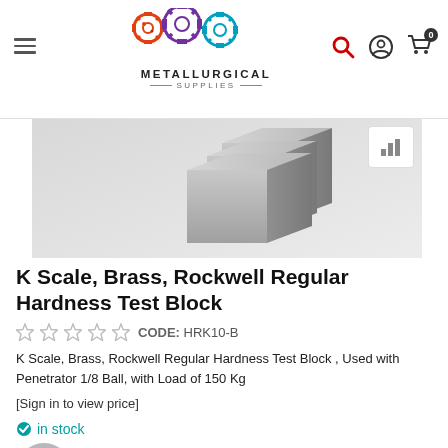Metallurgical Supplies — navigation header
[Figure (photo): Product photo of K Scale Brass Rockwell Hardness Test Blocks — three metallic square blocks arranged at angles against a light grey background]
K Scale, Brass, Rockwell Regular Hardness Test Block
CODE: HRK10-B
K Scale, Brass, Rockwell Regular Hardness Test Block , Used with Penetrator 1/8 Ball, with Load of 150 Kg
[Sign in to view price]
in stock
Please sign in to buy